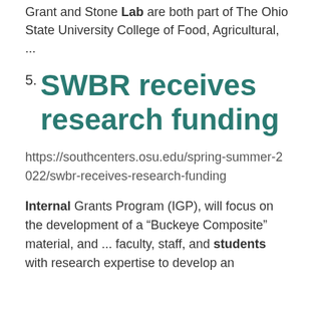Grant and Stone Lab are both part of The Ohio State University College of Food, Agricultural, ...
SWBR receives research funding
https://southcenters.osu.edu/spring-summer-2022/swbr-receives-research-funding
Internal Grants Program (IGP), will focus on the development of a “Buckeye Composite” material, and ... faculty, staff, and students with research expertise to develop an